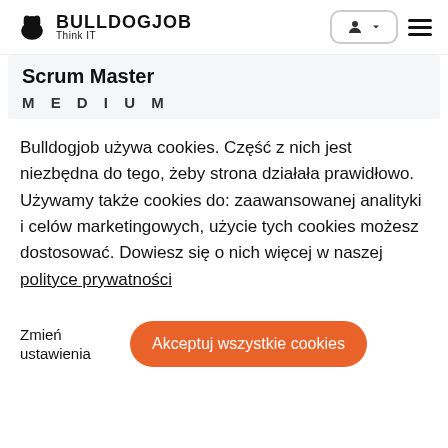BULLDOGJOB Think IT
Scrum Master
MEDIUM
Bulldogjob używa cookies. Część z nich jest niezbędna do tego, żeby strona działała prawidłowo. Używamy także cookies do: zaawansowanej analityki i celów marketingowych, użycie tych cookies możesz dostosować. Dowiesz się o nich więcej w naszej polityce prywatności
Zmień ustawienia
Akceptuj wszystkie cookies